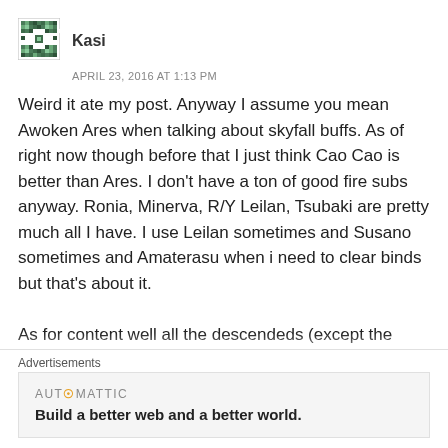[Figure (illustration): User avatar icon — pixel art style green/teal compass/crosshair graphic on white background with black border]
Kasi
APRIL 23, 2016 AT 1:13 PM
Weird it ate my post. Anyway I assume you mean Awoken Ares when talking about skyfall buffs. As of right now though before that I just think Cao Cao is better than Ares. I don't have a ton of good fire subs anyway. Ronia, Minerva, R/Y Leilan, Tsubaki are pretty much all I have. I use Leilan sometimes and Susano sometimes and Amaterasu when i need to clear binds but that's about it.

As for content well all the descendeds (except the levelling ones) and a decent amount of the 99 sta dungeons. Nothing like Ultimate Arena though. Shiva and one of the Urds and Cao Cao are 297'd. I guess
Advertisements
AUTOMATTIC
Build a better web and a better world.